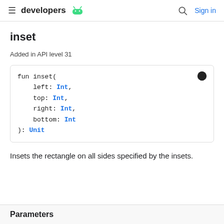developers [android icon] | Sign in
inset
Added in API level 31
Insets the rectangle on all sides specified by the insets.
Parameters